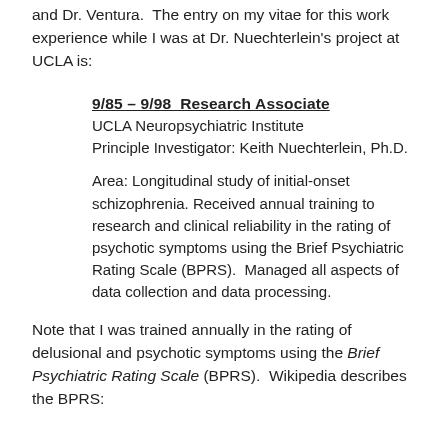and Dr. Ventura.  The entry on my vitae for this work experience while I was at Dr. Nuechterlein's project at UCLA is:
9/85 – 9/98  Research Associate
UCLA Neuropsychiatric Institute
Principle Investigator: Keith Nuechterlein, Ph.D.

Area: Longitudinal study of initial-onset schizophrenia. Received annual training to research and clinical reliability in the rating of psychotic symptoms using the Brief Psychiatric Rating Scale (BPRS).  Managed all aspects of data collection and data processing.
Note that I was trained annually in the rating of delusional and psychotic symptoms using the Brief Psychiatric Rating Scale (BPRS).  Wikipedia describes the BPRS: